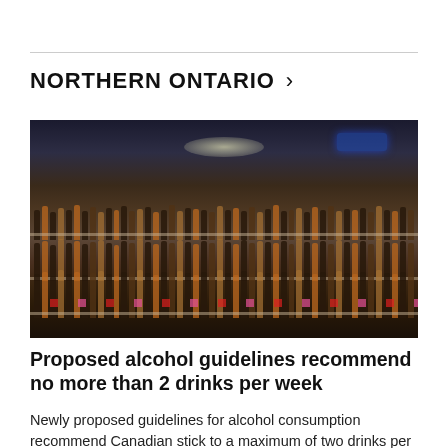NORTHERN ONTARIO >
[Figure (photo): Interior of a liquor store showing shelves stocked with many bottles of alcohol, with price tags visible and neon signs in the background.]
Proposed alcohol guidelines recommend no more than 2 drinks per week
Newly proposed guidelines for alcohol consumption recommend Canadian stick to a maximum of two drinks per week in order to minimize their risk of negative health